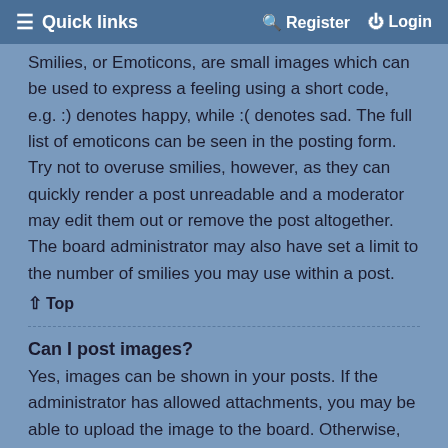≡ Quick links   🔍 Register   ⏻ Login
Smilies, or Emoticons, are small images which can be used to express a feeling using a short code, e.g. :) denotes happy, while :( denotes sad. The full list of emoticons can be seen in the posting form. Try not to overuse smilies, however, as they can quickly render a post unreadable and a moderator may edit them out or remove the post altogether. The board administrator may also have set a limit to the number of smilies you may use within a post.
↑ Top
Can I post images?
Yes, images can be shown in your posts. If the administrator has allowed attachments, you may be able to upload the image to the board. Otherwise, you must link to an image stored on a publicly accessible web